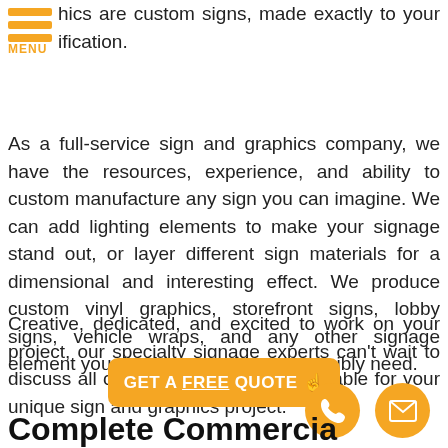hics are custom signs, made exactly to your ification.
As a full-service sign and graphics company, we have the resources, experience, and ability to custom manufacture any sign you can imagine. We can add lighting elements to make your signage stand out, or layer different sign materials for a dimensional and interesting effect. We produce custom vinyl graphics, storefront signs, lobby signs, vehicle wraps, and any other signage element your business could ever possibly need.
Creative, dedicated, and excited to work on your project, our specialty signage experts can't wait to discuss all of the custom options available for your unique sign and graphics project.
GET A FREE QUOTE
Complete Commercial